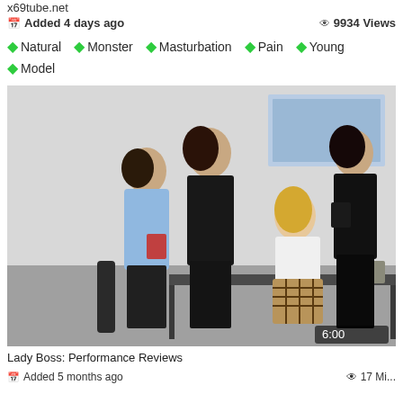x69tube.net
Added 4 days ago   9934 Views
Natural  Monster  Masturbation  Pain  Young  Model
[Figure (photo): Promotional thumbnail image for an adult video titled Lady Boss: Performance Reviews, showing four women in office attire. Duration badge shows 6:00.]
Lady Boss: Performance Reviews
Added 5 months ago   17 Mi...